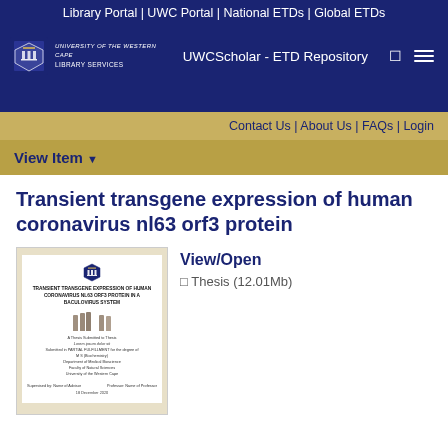Library Portal | UWC Portal | National ETDs | Global ETDs
UWCScholar - ETD Repository
Contact Us | About Us | FAQs | Login
View Item ▾
Transient transgene expression of human coronavirus nl63 orf3 protein
[Figure (screenshot): Thumbnail of thesis cover page showing UWC shield logo, title 'TRANSIENT TRANSGENE EXPRESSION OF HUMAN CORONAVIRUS NL63 ORF3 PROTEIN IN A BACULOVIRUS SYSTEM', decorative column illustration, submission text, Department of Medical Bioscience, Faculty of Natural Sciences, University of the Western Cape, supervisor and professor names, date 18 December 2020]
View/Open
🗋 Thesis (12.01Mb)